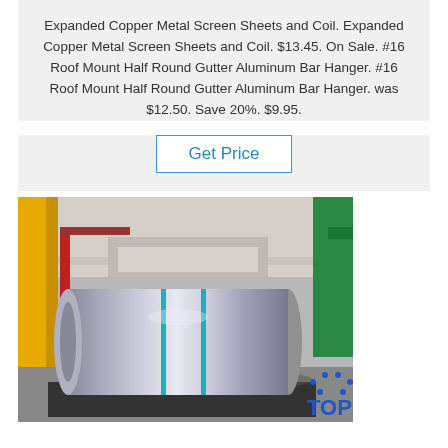Expanded Copper Metal Screen Sheets and Coil. Expanded Copper Metal Screen Sheets and Coil. $13.45. On Sale. #16 Roof Mount Half Round Gutter Aluminum Bar Hanger. #16 Roof Mount Half Round Gutter Aluminum Bar Hanger. was $12.50. Save 20%. $9.95.
Get Price
[Figure (photo): Large aluminum or metal coil/roll on a pallet in an industrial factory warehouse setting. Yellow and grey structural elements visible in background. Two teal/green straps visible on the coil. A TOP logo badge with dots appears in the lower right corner.]